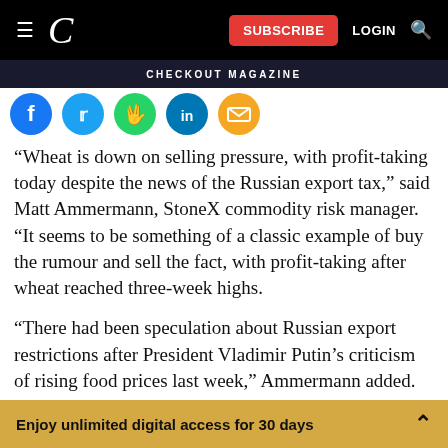CHECKOUT MAGAZINE — Navigation bar with Subscribe, Login, Search
[Figure (other): Social share icons: Facebook, Twitter, WhatsApp, LinkedIn, Email]
“Wheat is down on selling pressure, with profit-taking today despite the news of the Russian export tax,” said Matt Ammermann, StoneX commodity risk manager. “It seems to be something of a classic example of buy the rumour and sell the fact, with profit-taking after wheat reached three-week highs.
“There had been speculation about Russian export restrictions after President Vladimir Putin’s criticism of rising food prices last week,” Ammermann added.
Enjoy unlimited digital access for 30 days